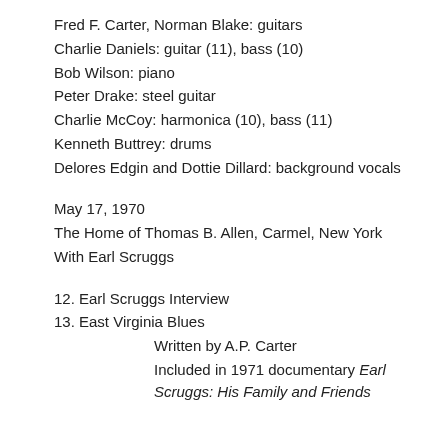Fred F. Carter, Norman Blake: guitars
Charlie Daniels: guitar (11), bass (10)
Bob Wilson: piano
Peter Drake: steel guitar
Charlie McCoy: harmonica (10), bass (11)
Kenneth Buttrey: drums
Delores Edgin and Dottie Dillard: background vocals
May 17, 1970
The Home of Thomas B. Allen, Carmel, New York
With Earl Scruggs
12. Earl Scruggs Interview
13. East Virginia Blues
Written by A.P. Carter
Included in 1971 documentary Earl Scruggs: His Family and Friends